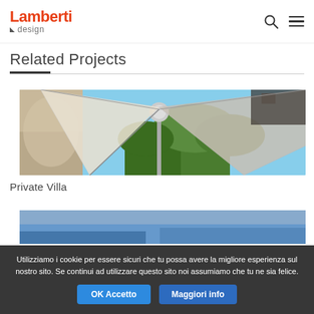[Figure (logo): Lamberti Design logo in red and grey]
Related Projects
[Figure (photo): Outdoor shade sail structure over a villa terrace with blue sky and trees]
Private Villa
[Figure (photo): Partial view of a second project image (cropped at bottom)]
Utilizziamo i cookie per essere sicuri che tu possa avere la migliore esperienza sul nostro sito. Se continui ad utilizzare questo sito noi assumiamo che tu ne sia felice.